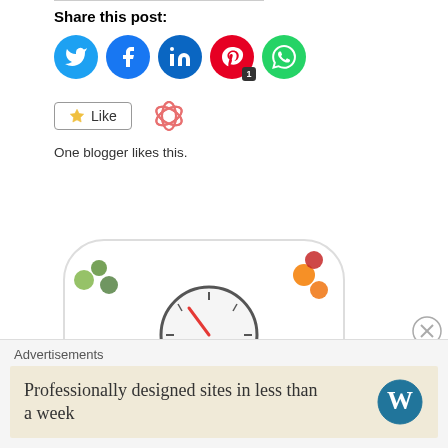Share this post:
[Figure (infographic): Social media share buttons: Twitter (blue), Facebook (blue), LinkedIn (dark blue), Pinterest (red with badge '1'), WhatsApp (green)]
[Figure (illustration): Like button with star icon and a decorative pink flower/snowflake icon]
One blogger likes this.
[Figure (illustration): A weight scale illustration decorated with colorful fruits, vegetables, and health-related words: Diet, Energy, WEIGHT LOSS, ANTIOXIDANTS, HEALTH FOOD, Fitness, Vitamins, Beauty, Healthy Lifestyle. A clock-like dial at top center shows 'Diet' in red.]
Advertisements
Professionally designed sites in less than a week